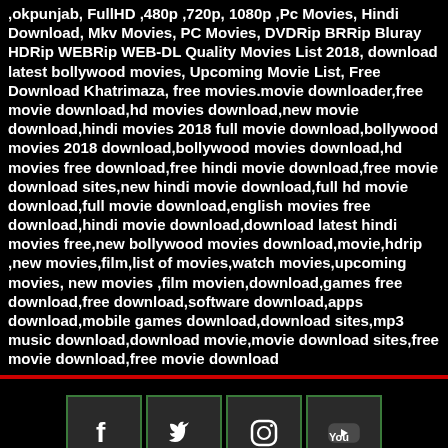,okpunjab, FullHD ,480p ,720p, 1080p ,Pc Movies, Hindi Download, Mkv Movies, PC Movies, DVDRip BRRip Bluray HDRip WEBRip WEB-DL Quality Movies List 2018, download latest bollywood movies, Upcoming Movie List, Free Download Khatrimaza, free movies.movie downloader,free movie download,hd movies download,new movie download,hindi movies 2018 full movie download,bollywood movies 2018 download,bollywood movies download,hd movies free download,free hindi movie download,free movie download sites,new hindi movie download,full hd movie download,full movie download,english movies free download,hindi movie download,download latest hindi movies free,new bollywood movies download,movie,hdrip ,new movies,film,list of movies,watch movies,upcoming movies, new movies ,film movien,download,games free download,free download,software download,apps download,mobile games download,download sites,mp3 music download,download movie,movie download sites,free movie download,free movie download
[Figure (infographic): Social media icons: Facebook, Twitter, Instagram, YouTube in green-bordered boxes]
About Us. Contact Us.
Privacy Policy.
Terms Of Use. Sitemap